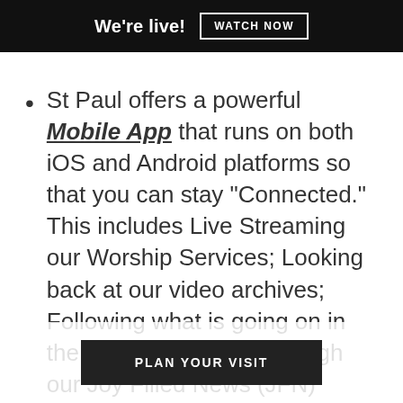We're live!  WATCH NOW
St Paul offers a powerful Mobile App that runs on both iOS and Android platforms so that you can stay "Connected."  This includes Live Streaming our Worship Services; Looking back at our video archives; Following what is going on in the life of the church through our Joy Filled News (JFN) weekly publication.  If you need or anyone you know needs prayer, click the "Need Prayer?" button and your request is immediately sent to our Prayer Warrior Team...